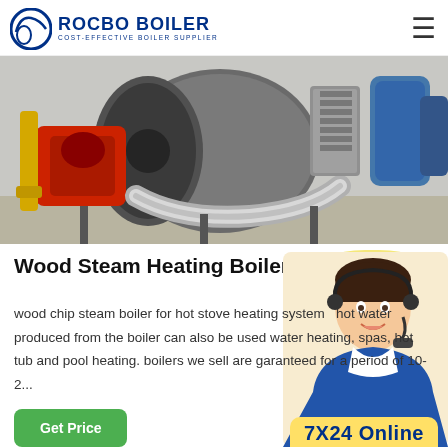ROCBO BOILER - COST-EFFECTIVE BOILER SUPPLIER
[Figure (photo): Industrial steam boiler equipment in a factory setting, showing large cylindrical boiler body, red burner unit, stainless steel pipes and connectors, with blue tanks in background]
Wood Steam Heating Boiler
[Figure (illustration): 10% DISCOUNT badge in red and yellow]
wood chip steam boiler for hot stove heating system hot water produced from the boiler can also be used water heating, spas, hot tub and pool heating. boilers we sell are garanteed for a period of 10-2...
[Figure (photo): Customer service agent, woman with headset smiling]
Get Price
7X24 Online